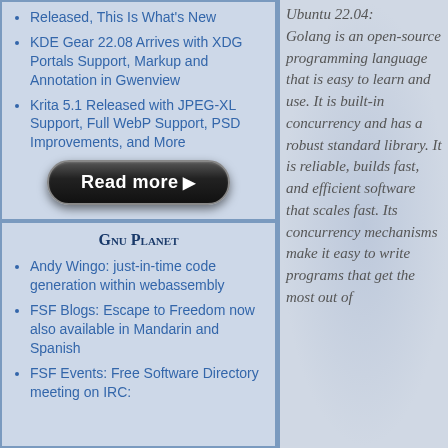Released, This Is What's New
KDE Gear 22.08 Arrives with XDG Portals Support, Markup and Annotation in Gwenview
Krita 5.1 Released with JPEG-XL Support, Full WebP Support, PSD Improvements, and More
[Figure (other): Dark rounded Read more button with play arrow]
Gnu Planet
Andy Wingo: just-in-time code generation within webassembly
FSF Blogs: Escape to Freedom now also available in Mandarin and Spanish
FSF Events: Free Software Directory meeting on IRC:
Ubuntu 22.04: Golang is an open-source programming language that is easy to learn and use. It is built-in concurrency and has a robust standard library. It is reliable, builds fast, and efficient software that scales fast. Its concurrency mechanisms make it easy to write programs that get the most out of